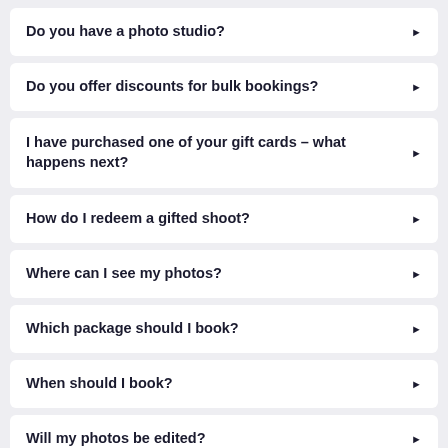Do you have a photo studio?
Do you offer discounts for bulk bookings?
I have purchased one of your gift cards – what happens next?
How do I redeem a gifted shoot?
Where can I see my photos?
Which package should I book?
When should I book?
Will my photos be edited?
How do you deliver the photos?